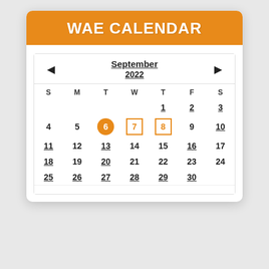WAE CALENDAR
[Figure (other): September 2022 calendar widget with orange header. Day 6 is highlighted with orange circle (today). Days 7 and 8 have orange borders. Sundays and days 25-30 have underlined gray styling. Navigation arrows for previous/next month.]